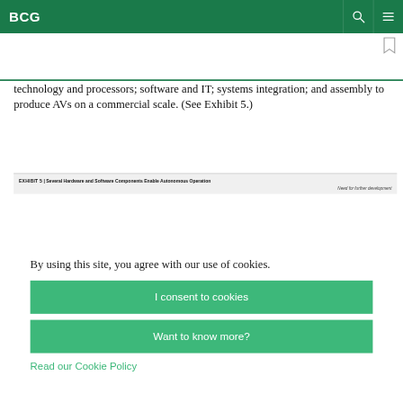BCG
technology and processors; software and IT; systems integration; and assembly to produce AVs on a commercial scale. (See Exhibit 5.)
EXHIBIT 5 | Several Hardware and Software Components Enable Autonomous Operation
Need for further development
By using this site, you agree with our use of cookies.
I consent to cookies
Want to know more?
Read our Cookie Policy